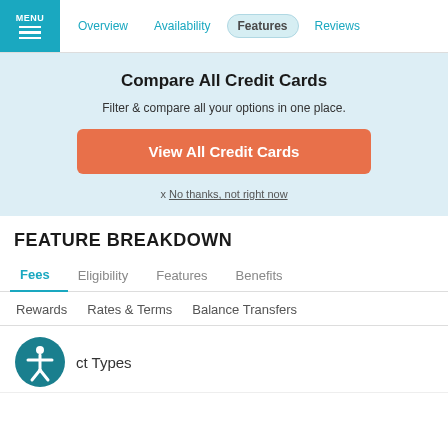MENU | Overview | Availability | Features | Reviews
Compare All Credit Cards
Filter & compare all your options in one place.
View All Credit Cards
x No thanks, not right now
FEATURE BREAKDOWN
Fees | Eligibility | Features | Benefits
Rewards | Rates & Terms | Balance Transfers
ct Types